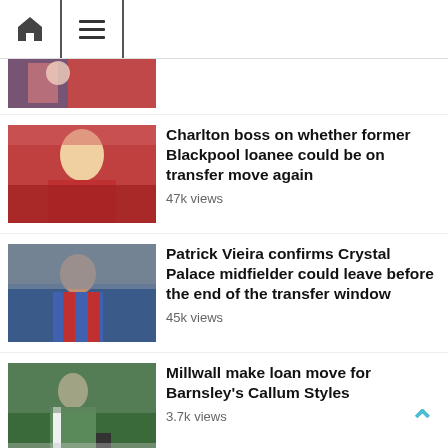Navigation bar with home icon and menu icon
[Figure (photo): Partial view of a football player in red kit, cropped at top of page]
Charlton boss on whether former Blackpool loanee could be on transfer move again
47k views
[Figure (photo): Young football player with blonde hair wearing red kit]
Patrick Vieira confirms Crystal Palace midfielder could leave before the end of the transfer window
45k views
[Figure (photo): Football player in blue Crystal Palace kit dribbling ball]
Millwall make loan move for Barnsley's Callum Styles
3.7k views
[Figure (photo): Football player in green and white kit running on pitch]